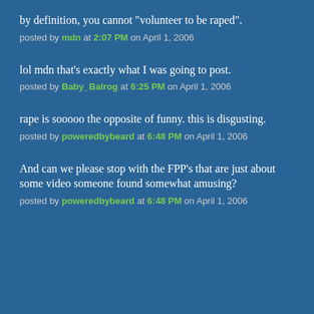by definition, you cannot "volunteer to be raped".
posted by mdn at 2:07 PM on April 1, 2006
lol mdn that’s exactly what I was going to post.
posted by Baby_Balrog at 6:25 PM on April 1, 2006
rape is sooooo the opposite of funny. this is disgusting.
posted by poweredbybeard at 6:48 PM on April 1, 2006
And can we please stop with the FPP’s that are just about some video someone found somewhat amusing?
posted by poweredbybeard at 6:48 PM on April 1, 2006